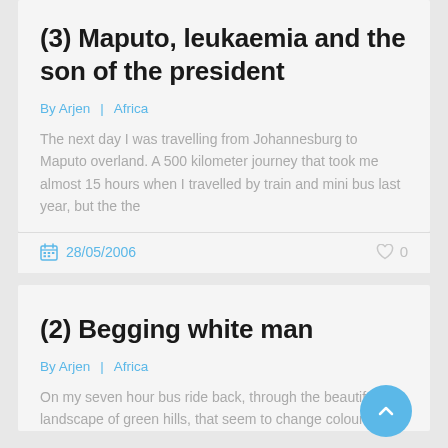(3) Maputo, leukaemia and the son of the president
By Arjen  |  Africa
The next day I was travelling from Johannesburg to Maputo overland. A 500 kilometer journey that took me almost 15 hours when I travelled by train and mini bus last year, but the the
28/05/2006   ♡ 0
(2) Begging white man
By Arjen  |  Africa
On my seven hour bus ride back, through the beautifull landscape of green hills, that seem to change colour with